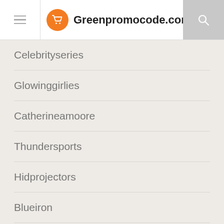Greenpromocode.com
Celebrityseries
Glowinggirlies
Catherineamoore
Thundersports
Hidprojectors
Blueiron
Simple-shot
Beautyneverexpires